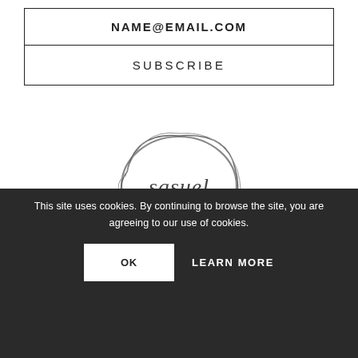NAME@EMAIL.COM
SUBSCRIBE
[Figure (logo): Sasuel brand logo — hand-drawn oval/circle outline with the word 'sasuel' in a stylized serif-like font inside]
+40 746051379
office@sasuel.com
Instagram
Facebook
This site uses cookies. By continuing to browse the site, you are agreeing to our use of cookies.
OK
LEARN MORE